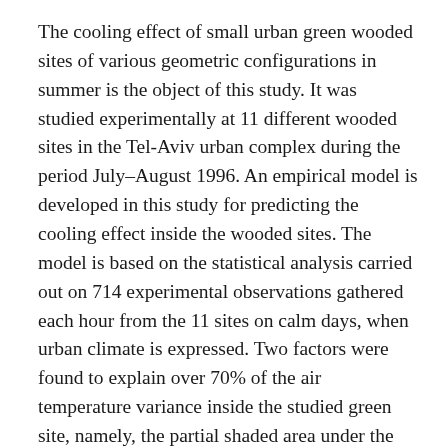The cooling effect of small urban green wooded sites of various geometric configurations in summer is the object of this study. It was studied experimentally at 11 different wooded sites in the Tel-Aviv urban complex during the period July–August 1996. An empirical model is developed in this study for predicting the cooling effect inside the wooded sites. The model is based on the statistical analysis carried out on 714 experimental observations gathered each hour from the 11 sites on calm days, when urban climate is expressed. Two factors were found to explain over 70% of the air temperature variance inside the studied green site, namely, the partial shaded area under the tree canopy and the air temperature of the non-wooded surroundings adjoining the site. The specific cooling effect of the site due to its geometry and tree characteristics, besides the shading, was found to be relatively small, about 0.5 K, out of an average cooling of about 3 K at noon. The cooling effect of the green